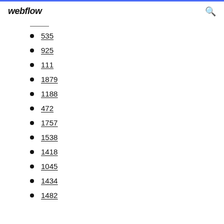webflow
535
925
111
1879
1188
472
1757
1538
1418
1045
1434
1482